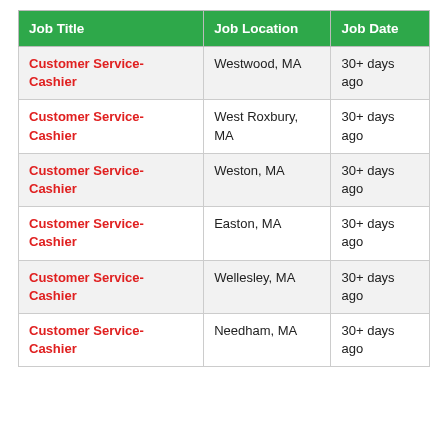| Job Title | Job Location | Job Date |
| --- | --- | --- |
| Customer Service- Cashier | Westwood, MA | 30+ days ago |
| Customer Service- Cashier | West Roxbury, MA | 30+ days ago |
| Customer Service- Cashier | Weston, MA | 30+ days ago |
| Customer Service- Cashier | Easton, MA | 30+ days ago |
| Customer Service- Cashier | Wellesley, MA | 30+ days ago |
| Customer Service- Cashier | Needham, MA | 30+ days ago |